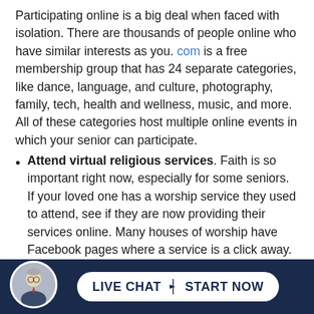Participating online is a big deal when faced with isolation. There are thousands of people online who have similar interests as you. com is a free membership group that has 24 separate categories, like dance, language, and culture, photography, family, tech, health and wellness, music, and more. All of these categories host multiple online events in which your senior can participate.
Attend virtual religious services. Faith is so important right now, especially for some seniors. If your loved one has a worship service they used to attend, see if they are now providing their services online. Many houses of worship have Facebook pages where a service is a click away. It will lift your senior’s spirits immensely to see and listen to their familiar pastor, rabbi, or priest.
M...use...re (partial, cut off by footer)
[Figure (other): Footer bar with a circular avatar photo of a man in glasses and suit, and a white pill-shaped button reading LIVE CHAT | START NOW on a dark navy background.]